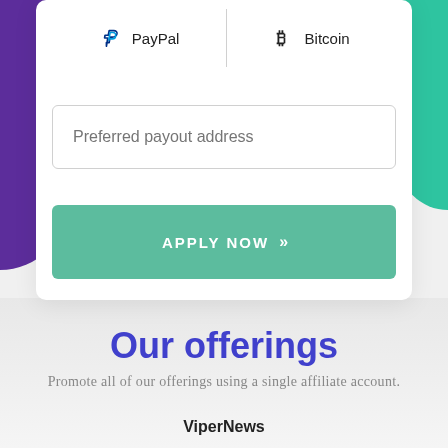| PayPal | Bitcoin |
| --- | --- |
Preferred payout address
APPLY NOW »
Our offerings
Promote all of our offerings using a single affiliate account.
ViperNews